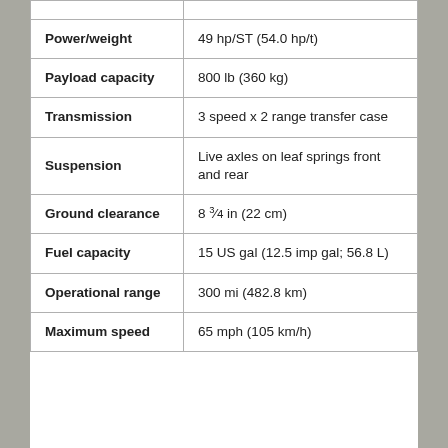| Power/weight | 49 hp/ST (54.0 hp/t) |
| Payload capacity | 800 lb (360 kg) |
| Transmission | 3 speed x 2 range transfer case |
| Suspension | Live axles on leaf springs front and rear |
| Ground clearance | 8 3/4 in (22 cm) |
| Fuel capacity | 15 US gal (12.5 imp gal; 56.8 L) |
| Operational range | 300 mi (482.8 km) |
| Maximum speed | 65 mph (105 km/h) |